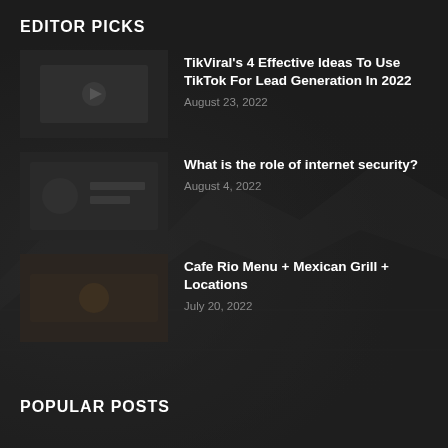EDITOR PICKS
TikViral's 4 Effective Ideas To Use TikTok For Lead Generation In 2022
August 23, 2022
What is the role of internet security?
August 4, 2022
Cafe Rio Menu + Mexican Grill + Locations
July 20, 2022
POPULAR POSTS